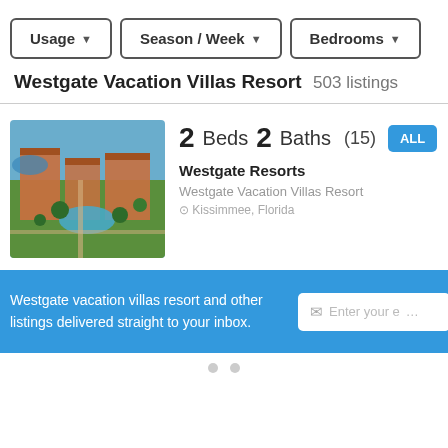Usage ▼   Season / Week ▼   Bedrooms ▼
Westgate Vacation Villas Resort 503 listings
2 Beds  2 Baths  (15)  ALL
Westgate Resorts
Westgate Vacation Villas Resort
Kissimmee, Florida
Westgate vacation villas resort and other listings delivered straight to your inbox.
Enter your e...